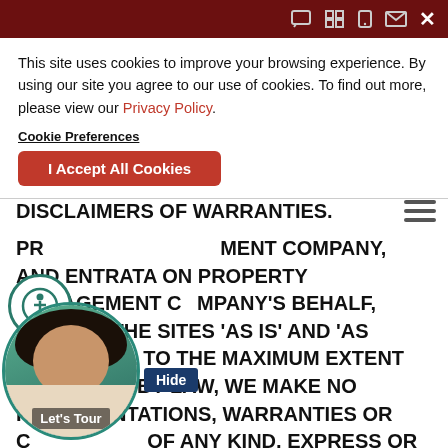Top navigation bar with icons
This site uses cookies to improve your browsing experience. By using our site you agree to our use of cookies. To find out more, please view our Privacy Policy.
Cookie Preferences
I Accept All Cookies
DISCLAIMERS OF WARRANTIES.
PROPERTY MANAGEMENT COMPANY, AND ENTRATA ON PROPERTY MANAGEMENT COMPANY'S BEHALF, PROVIDE THE SITES 'AS IS' AND 'AS AVAILABLE'. TO THE MAXIMUM EXTENT PERMITTED BY LAW, WE MAKE NO REPRESENTATIONS, WARRANTIES OR CONDITIONS OF ANY KIND, EXPRESS OR IMPLIED, REGARDING OPERATION OF THE SITE OR THE INFORMATION, SOFTWARE, OR CONTENT INCLUDED IN THE SITES. WE MAKE NO REPRESENTATIONS OR WARRANTIES THAT THE